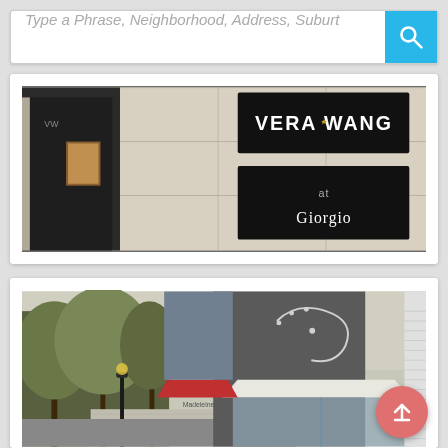[Figure (screenshot): Search bar with placeholder text 'Type a Phrase, Neighborhood, Address, Suburb' and a cyan/blue search button with magnifying glass icon]
[Figure (photo): Photo of a storefront with black signage showing 'VERA WANG' and 'at Giorgio' on a light stone/concrete building facade]
[Figure (photo): Photo of a retail street with trees, lamp posts, storefronts including a grey building with a swirl logo, white awning, and red awning. A coral/red back-to-top arrow button overlays the bottom right.]